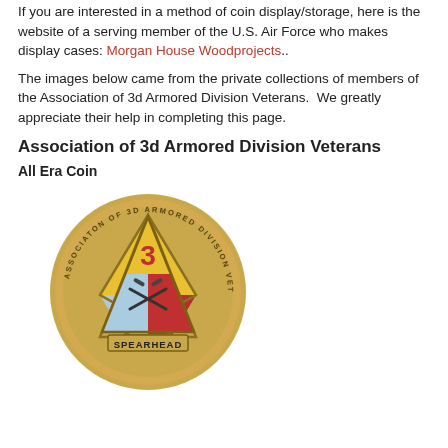If you are interested in a method of coin display/storage, here is the website of a serving member of the U.S. Air Force who makes display cases: Morgan House Woodprojects..
The images below came from the private collections of members of the Association of 3d Armored Division Veterans.  We greatly appreciate their help in completing this page.
Association of 3d Armored Division Veterans
All Era Coin
[Figure (photo): A challenge coin for the Association of 3d Armored Division Veterans. The coin is round, bronze/gold colored. The face features the 3rd Armored Division insignia: a triangle with yellow top section containing a red '3', a light blue lower-left section, and red lower-right section, with crossed cannon and rifle in the center. The word 'SPEARHEAD' appears on a banner at the bottom. Around the edge reads 'ASSOCIATION OF 3D ARMORED DIVISION VETERANS'.]